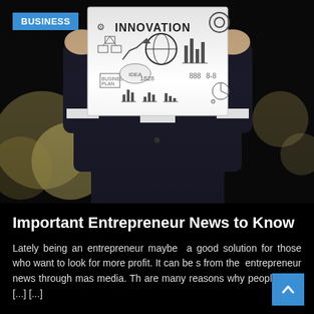[Figure (photo): Person in dark suit holding up a white sign/board showing the word INNOVATION with hand-drawn business icons, charts, gears, and idea sketches. Bokeh background with blurred lights.]
BUSINESS
Important Entrepreneur News to Know
Lately being an entrepreneur maybe  a good solution for those who want to look for more profit. It can be s from the  entrepreneur news through mas media. Th are many reasons why people want [...] [...]